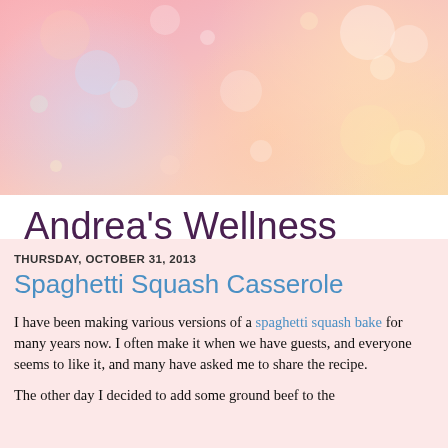[Figure (illustration): Pink and peach bokeh background for blog header with soft light circles]
Andrea's Wellness Notes
A record of attempting to live my best life
Home
THURSDAY, OCTOBER 31, 2013
Spaghetti Squash Casserole
I have been making various versions of a spaghetti squash bake for many years now. I often make it when we have guests, and everyone seems to like it, and many have asked me to share the recipe.

The other day I decided to add some ground beef to the